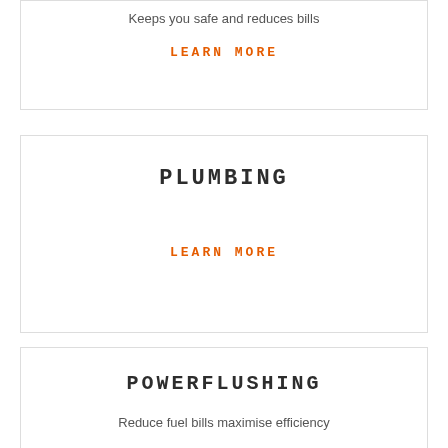Keeps you safe and reduces bills
LEARN MORE
PLUMBING
LEARN MORE
POWERFLUSHING
Reduce fuel bills maximise efficiency